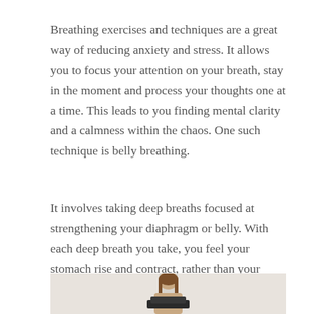Breathing exercises and techniques are a great way of reducing anxiety and stress. It allows you to focus your attention on your breath, stay in the moment and process your thoughts one at a time. This leads to you finding mental clarity and a calmness within the chaos. One such technique is belly breathing.
It involves taking deep breaths focused at strengthening your diaphragm or belly. With each deep breath you take, you feel your stomach rise and contract, rather than your chest as you focus on your belly as you breathe. Belly breathing is effective in reducing anxiety.
[Figure (photo): A person sitting in a meditation or breathing exercise pose, photographed from the waist up against a light background.]